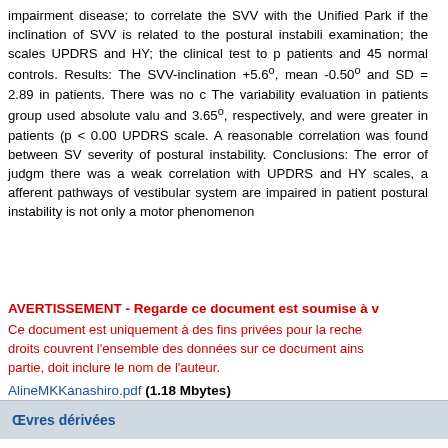impairment disease; to correlate the SVV with the Unified Park if the inclination of SVV is related to the postural instabili examination; the scales UPDRS and HY; the clinical test to p patients and 45 normal controls. Results: The SVV-inclination +5.6°, mean -0.50° and SD = 2.89 in patients. There was no c The variability evaluation in patients group used absolute valu and 3.65°, respectively, and were greater in patients (p < 0.00 UPDRS scale. A reasonable correlation was found between SV severity of postural instability. Conclusions: The error of judgm there was a weak correlation with UPDRS and HY scales, a afferent pathways of vestibular system are impaired in patient postural instability is not only a motor phenomenon
AVERTISSEMENT - Regarde ce document est soumise à v Ce document est uniquement à des fins privées pour la reche droits couvrent l'ensemble des données sur ce document ains partie, doit inclure le nom de l'auteur.
AlineMKKanashiro.pdf (1.18 Mbytes)
Date de Publication    2010-03-02
Œvres dérivées